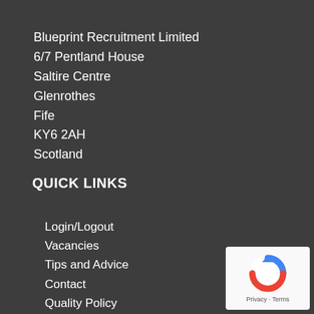Blueprint Recruitment Limited
6/7 Pentland House
Saltire Centre
Glenrothes
Fife
KY6 2AH
Scotland
QUICK LINKS
Login/Logout
Vacancies
Tips and Advice
Contact
Quality Policy
Privacy Policy
[Figure (logo): Google reCAPTCHA badge with circular arrow icon and 'Privacy - Terms' text]